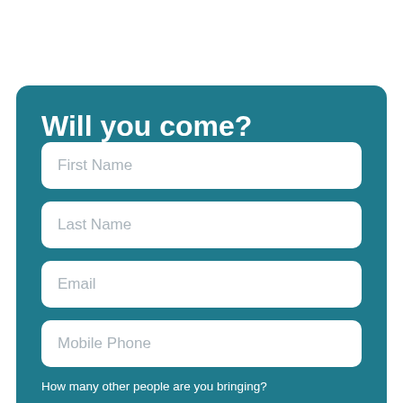Will you come?
First Name
Last Name
Email
Mobile Phone
How many other people are you bringing?